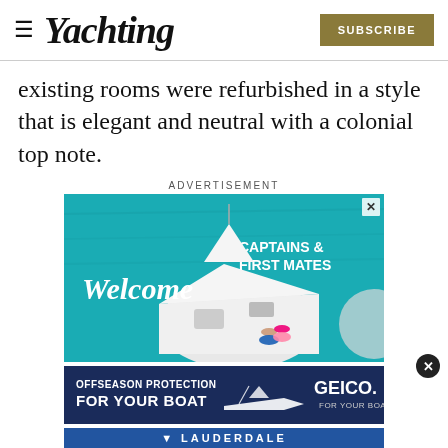Yachting | SUBSCRIBE
existing rooms were refurbished in a style that is elegant and neutral with a colonial top note.
ADVERTISEMENT
[Figure (photo): Advertisement banner showing a yacht from aerial view with two people lounging on deck over turquoise water, with text 'Welcome CAPTAINS & FIRST MATES']
[Figure (photo): GEICO advertisement: 'OFFSEASON PROTECTION FOR YOUR BOAT' with GEICO logo and boat graphic]